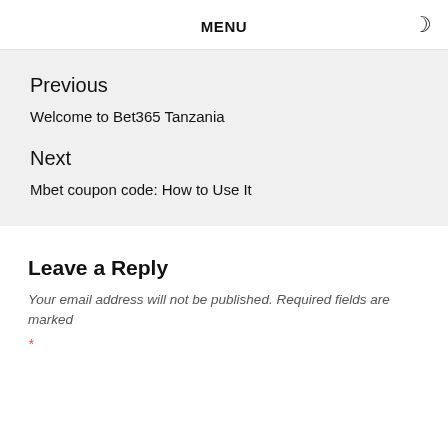MENU
Previous
Welcome to Bet365 Tanzania
Next
Mbet coupon code: How to Use It
Leave a Reply
Your email address will not be published. Required fields are marked *